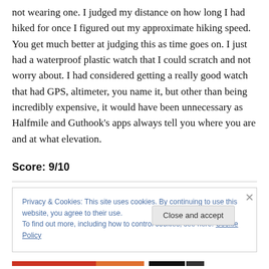not wearing one. I judged my distance on how long I had hiked for once I figured out my approximate hiking speed. You get much better at judging this as time goes on. I just had a waterproof plastic watch that I could scratch and not worry about. I had considered getting a really good watch that had GPS, altimeter, you name it, but other than being incredibly expensive, it would have been unnecessary as Halfmile and Guthook's apps always tell you where you are and at what elevation.
Score: 9/10
Privacy & Cookies: This site uses cookies. By continuing to use this website, you agree to their use.
To find out more, including how to control cookies, see here: Cookie Policy